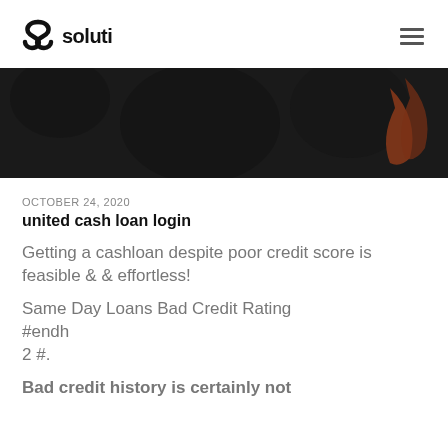soluti
[Figure (photo): Dark background hero image, appears to show a dark nature or abstract scene with a reddish-orange element on the right side]
OCTOBER 24, 2020
united cash loan login
Getting a cashloan despite poor credit score is feasible & & effortless!
Same Day Loans Bad Credit Rating #endh
2 #.
Bad credit history is certainly not